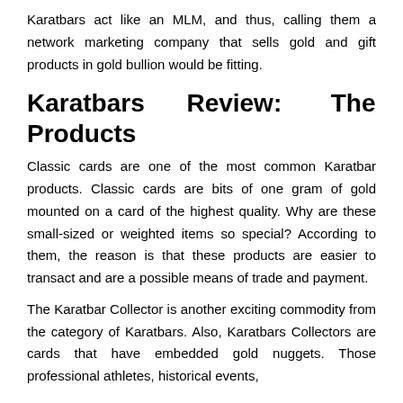Karatbars act like an MLM, and thus, calling them a network marketing company that sells gold and gift products in gold bullion would be fitting.
Karatbars Review: The Products
Classic cards are one of the most common Karatbar products. Classic cards are bits of one gram of gold mounted on a card of the highest quality. Why are these small-sized or weighted items so special? According to them, the reason is that these products are easier to transact and are a possible means of trade and payment.
The Karatbar Collector is another exciting commodity from the category of Karatbars. Also, Karatbars Collectors are cards that have embedded gold nuggets. Those professional athletes, historical events,